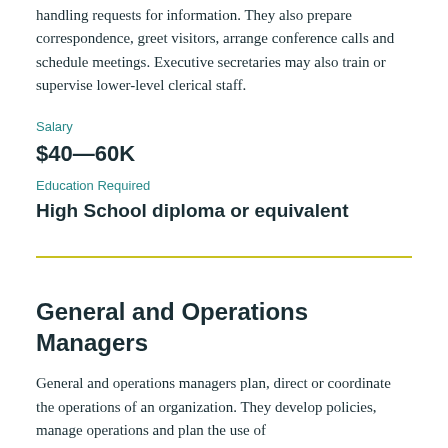handling requests for information. They also prepare correspondence, greet visitors, arrange conference calls and schedule meetings. Executive secretaries may also train or supervise lower-level clerical staff.
Salary
$40—60K
Education Required
High School diploma or equivalent
General and Operations Managers
General and operations managers plan, direct or coordinate the operations of an organization. They develop policies, manage operations and plan the use of